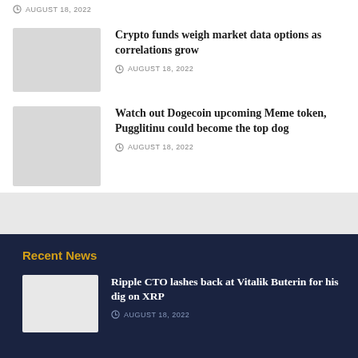AUGUST 18, 2022
[Figure (photo): Thumbnail image placeholder for crypto market data article]
Crypto funds weigh market data options as correlations grow
AUGUST 18, 2022
[Figure (photo): Thumbnail image placeholder for Dogecoin meme token article]
Watch out Dogecoin upcoming Meme token, Pugglitinu could become the top dog
AUGUST 18, 2022
Recent News
[Figure (photo): Thumbnail image placeholder for Ripple CTO article]
Ripple CTO lashes back at Vitalik Buterin for his dig on XRP
AUGUST 18, 2022